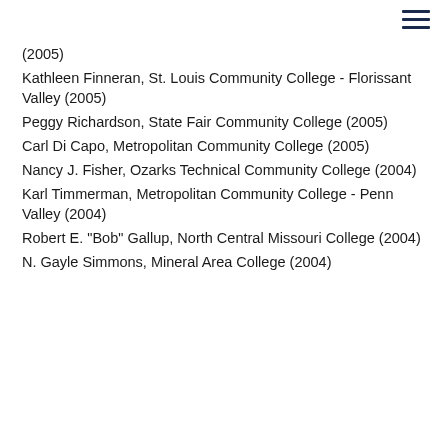≡
(2005)
Kathleen Finneran, St. Louis Community College - Florissant Valley (2005)
Peggy Richardson, State Fair Community College (2005)
Carl Di Capo, Metropolitan Community College (2005)
Nancy J. Fisher, Ozarks Technical Community College (2004)
Karl Timmerman, Metropolitan Community College - Penn Valley (2004)
Robert E. "Bob" Gallup, North Central Missouri College (2004)
N. Gayle Simmons, Mineral Area College (2004)